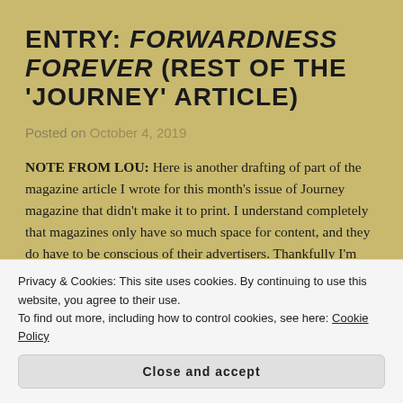ENTRY: FORWARDNESS FOREVER (REST OF THE 'JOURNEY' ARTICLE)
Posted on October 4, 2019
NOTE FROM LOU: Here is another drafting of part of the magazine article I wrote for this month's issue of Journey magazine that didn't make it to print. I understand completely that magazines only have so much space for content, and they do have to be conscious of their advertisers. Thankfully I'm able to share... Continue reading
Privacy & Cookies: This site uses cookies. By continuing to use this website, you agree to their use.
To find out more, including how to control cookies, see here: Cookie Policy
Close and accept